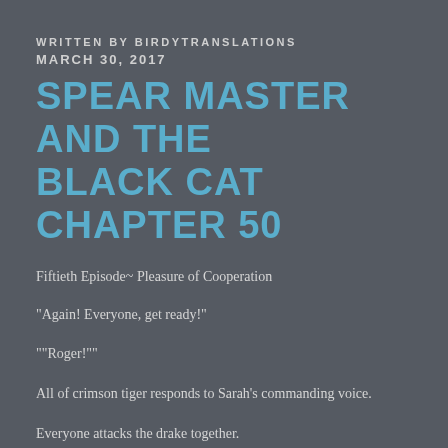WRITTEN BY BIRDYTRANSLATIONS
MARCH 30, 2017
SPEAR MASTER AND THE BLACK CAT CHAPTER 50
Fiftieth Episode~ Pleasure of Cooperation
“Again! Everyone, get ready!”
““Roger!””
All of crimson tiger responds to Sarah’s commanding voice.
Everyone attacks the drake together.